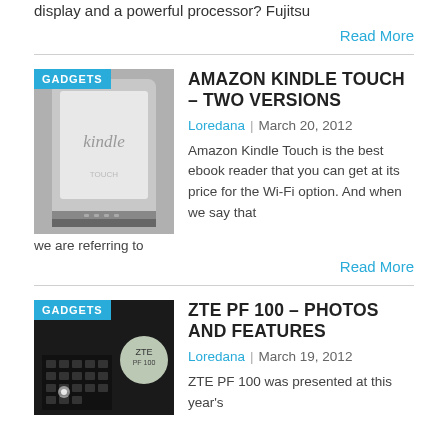display and a powerful processor? Fujitsu
Read More
[Figure (photo): Amazon Kindle e-reader device, silver/gray color]
AMAZON KINDLE TOUCH – TWO VERSIONS
Loredana | March 20, 2012
Amazon Kindle Touch is the best ebook reader that you can get at its price for the Wi-Fi option. And when we say that we are referring to
Read More
[Figure (photo): ZTE PF 100 device photo]
ZTE PF 100 – PHOTOS AND FEATURES
Loredana | March 19, 2012
ZTE PF 100 was presented at this year's